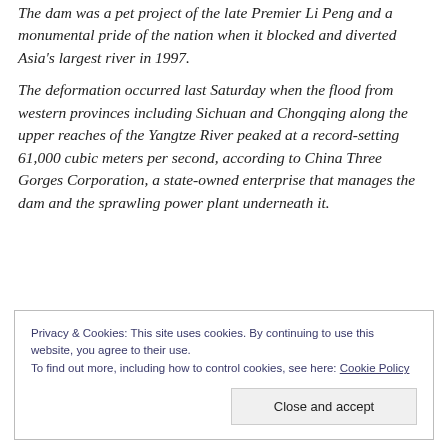The dam was a pet project of the late Premier Li Peng and a monumental pride of the nation when it blocked and diverted Asia's largest river in 1997.
The deformation occurred last Saturday when the flood from western provinces including Sichuan and Chongqing along the upper reaches of the Yangtze River peaked at a record-setting 61,000 cubic meters per second, according to China Three Gorges Corporation, a state-owned enterprise that manages the dam and the sprawling power plant underneath it.
Privacy & Cookies: This site uses cookies. By continuing to use this website, you agree to their use. To find out more, including how to control cookies, see here: Cookie Policy